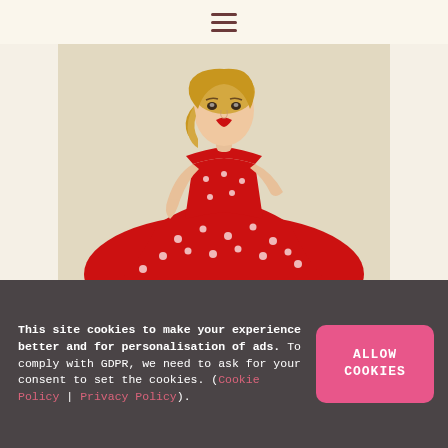☰ (hamburger menu icon)
[Figure (photo): A blonde woman wearing a red off-shoulder polka dot dress, posed against a light beige background in a retro 1950s pin-up style.]
This site cookies to make your experience better and for personalisation of ads. To comply with GDPR, we need to ask for your consent to set the cookies. (Cookie Policy | Privacy Policy).
ALLOW COOKIES